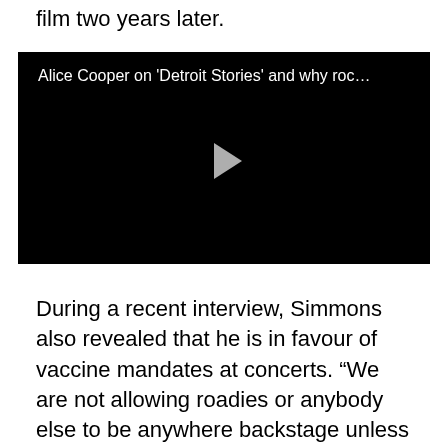film two years later.
[Figure (screenshot): Embedded video player with black background showing title 'Alice Cooper on \'Detroit Stories\' and why roc...' with a play button in the center.]
During a recent interview, Simmons also revealed that he is in favour of vaccine mandates at concerts. “We are not allowing roadies or anybody else to be anywhere backstage unless they’re vaccinated and